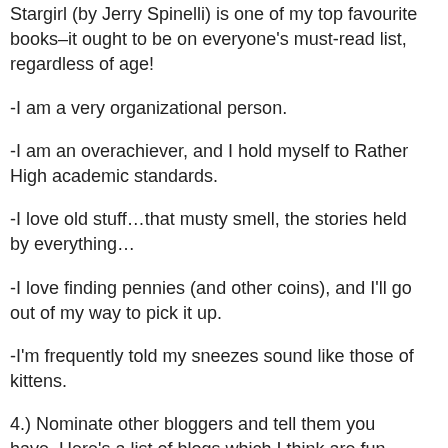Stargirl (by Jerry Spinelli) is one of my top favourite books–it ought to be on everyone's must-read list, regardless of age!
-I am a very organizational person.
-I am an overachiever, and I hold myself to Rather High academic standards.
-I love old stuff…that musty smell, the stories held by everything…
-I love finding pennies (and other coins), and I'll go out of my way to pick it up.
-I'm frequently told my sneezes sound like those of kittens.
4.) Nominate other bloggers and tell them you have. Here's a list of blogs which I think are fun, interesting, or